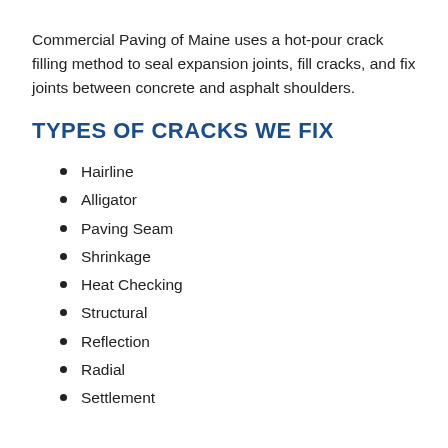Commercial Paving of Maine uses a hot-pour crack filling method to seal expansion joints, fill cracks, and fix joints between concrete and asphalt shoulders.
TYPES OF CRACKS WE FIX
Hairline
Alligator
Paving Seam
Shrinkage
Heat Checking
Structural
Reflection
Radial
Settlement